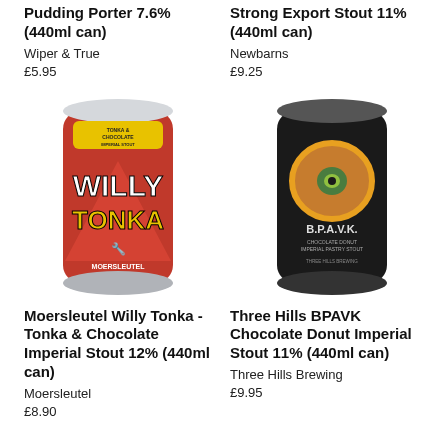Pudding Porter 7.6% (440ml can)
Wiper & True
£5.95
Strong Export Stout 11% (440ml can)
Newbarns
£9.25
[Figure (photo): Can of Moersleutel Willy Tonka Tonka & Chocolate Imperial Stout, red can with bold stylized lettering]
[Figure (photo): Can of Three Hills BPAVK Chocolate Donut Imperial Stout, dark/black can with orange donut graphic]
Moersleutel Willy Tonka - Tonka & Chocolate Imperial Stout 12% (440ml can)
Moersleutel
£8.90
Three Hills BPAVK Chocolate Donut Imperial Stout 11% (440ml can)
Three Hills Brewing
£9.95